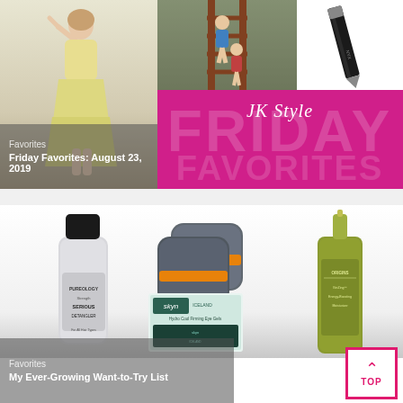[Figure (photo): Top card with collage: woman in yellow dress, two kids on playground equipment, eyeliner pencil, pink 'JK Style Friday Favorites' banner overlay]
Favorites
Friday Favorites: August 23, 2019
[Figure (photo): Bottom card with beauty/skincare products: dry shampoo bottle, gray makeup remover pads, skyn iceland eye mask box, Origins skincare bottle; pink TOP button]
Favorites
My Ever-Growing Want-to-Try List